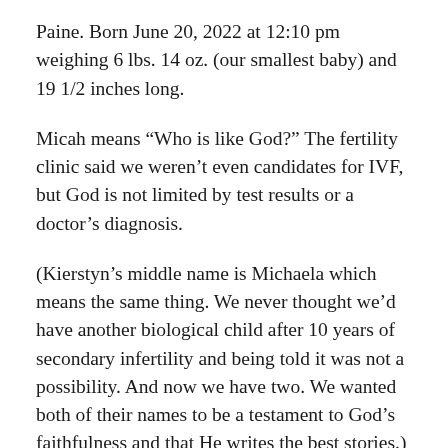Paine. Born June 20, 2022 at 12:10 pm weighing 6 lbs. 14 oz. (our smallest baby) and 19 1/2 inches long.
Micah means “Who is like God?” The fertility clinic said we weren’t even candidates for IVF, but God is not limited by test results or a doctor’s diagnosis.
(Kierstyn’s middle name is Michaela which means the same thing. We never thought we’d have another biological child after 10 years of secondary infertility and being told it was not a possibility. And now we have two. We wanted both of their names to be a testament to God’s faithfulness and that He writes the best stories.)
We picked out his middle name, Timothy, with the